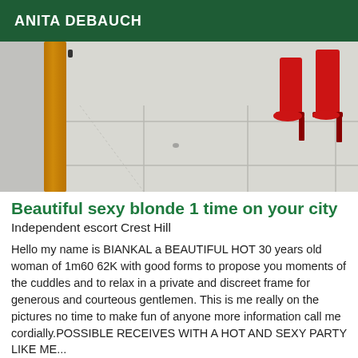ANITA DEBAUCH
[Figure (photo): Photo showing red high-heeled shoes/boots standing on light grey floor tiles, with a wooden mirror frame visible on the left side of the image.]
Beautiful sexy blonde 1 time on your city
Independent escort Crest Hill
Hello my name is BIANKAL a BEAUTIFUL HOT 30 years old woman of 1m60 62K with good forms to propose you moments of the cuddles and to relax in a private and discreet frame for generous and courteous gentlemen. This is me really on the pictures no time to make fun of anyone more information call me cordially.POSSIBLE RECEIVES WITH A HOT AND SEXY PARTY LIKE ME...